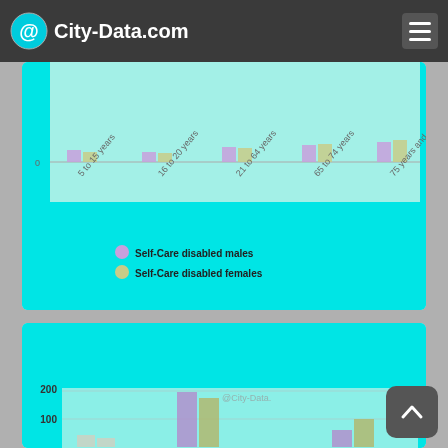City-Data.com
[Figure (grouped-bar-chart): Age and Sex of Self-Care Disabled (partial view)]
Age and Sex of Go-Outside-Home Disabled Noninstitutionalized Residents
Zip code 33982
[Figure (grouped-bar-chart): Age and Sex of Go-Outside-Home Disabled Noninstitutionalized Residents]